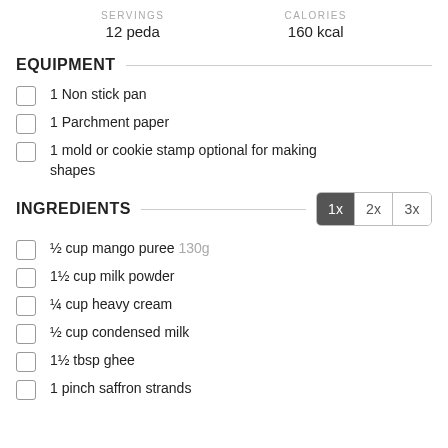SERVINGS: 12 peda | CALORIES: 160 kcal
EQUIPMENT
1 Non stick pan
1 Parchment paper
1 mold or cookie stamp optional for making shapes
INGREDIENTS
½ cup mango puree 130g
1½ cup milk powder
¼ cup heavy cream
½ cup condensed milk
1½ tbsp ghee
1 pinch saffron strands